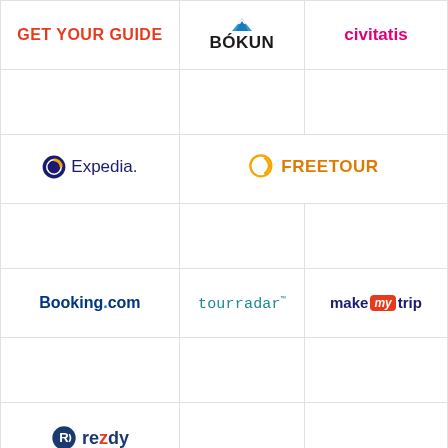| Col1 | Col2 | Col3 |
| --- | --- | --- |
| GET YOUR GUIDE | BÓKUN | civitatis |
|  |  |  |
| Expedia | FREETOUR |  |
|  |  |  |
| Booking.com | tourradar | makemytrip |
|  |  |  |
| rezdy |  |  |
Share
You may also like
[Figure (map): Map showing a geographic region with roads and locations]
Questions? We can help. Chat with us now.